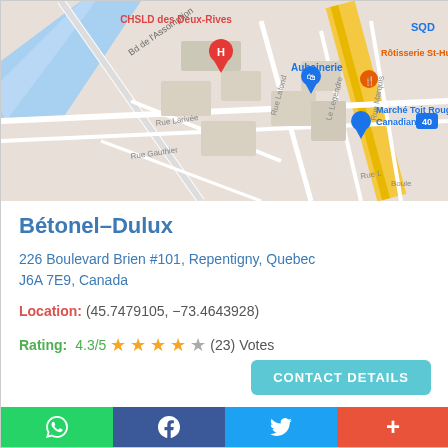[Figure (map): Google Maps screenshot showing the area around Repentigny, Quebec, with landmarks including CHSLD des Deux-Rives, Aubainerie, Marché Toit Rouge, Canadian Tire, Rôtisserie St-Hubert, and SQD. Streets visible include Bd de l'Assomption, Rue Larivée, Rue Gauthier, Rue Lafond, Rue Legendre, Rue Marquis. A red location pin is placed near CHSLD des Deux-Rives.]
Bétonel–Dulux
226 Boulevard Brien #101, Repentigny, Quebec J6A 7E9, Canada
Location: (45.7479105, −73.4643928)
Rating: 4.3/5 ★★★★☆ (23) Votes
CONTACT DETAILS